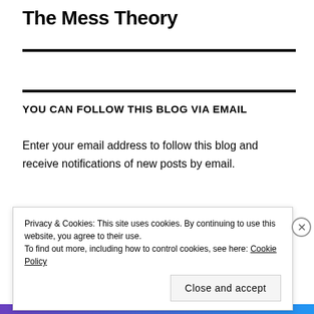The Mess Theory
YOU CAN FOLLOW THIS BLOG VIA EMAIL
Enter your email address to follow this blog and receive notifications of new posts by email.
Privacy & Cookies: This site uses cookies. By continuing to use this website, you agree to their use.
To find out more, including how to control cookies, see here: Cookie Policy
Close and accept